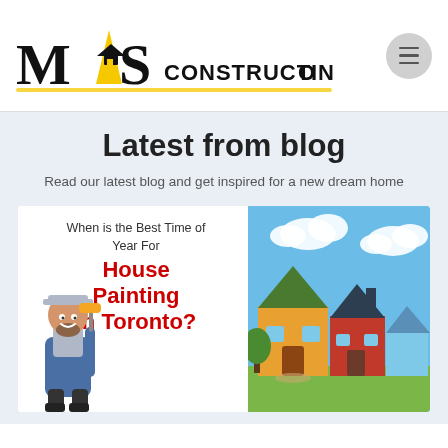[Figure (logo): MAS Construction logo with yellow chevron/arrow between M and S, house icon, and CONSTRUCTION text with yellow underline]
[Figure (illustration): Hamburger menu button (three horizontal lines) inside a grey circle]
Latest from blog
Read our latest blog and get inspired for a new dream home
[Figure (illustration): Blog post card with text 'When is the Best Time of Year For House Painting In Toronto?' alongside illustration of painter holding roller and cartoon house scene with suburban homes]